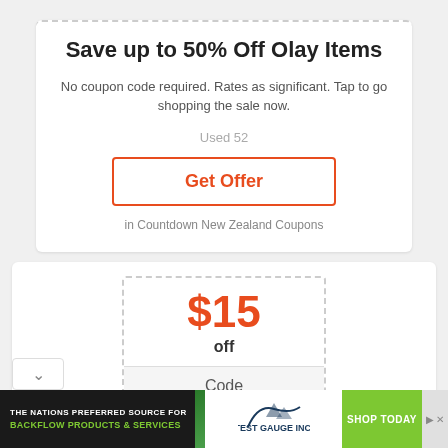Save up to 50% Off Olay Items
No coupon code required. Rates as significant. Tap to go shopping the sale now.
Used 52
Get Offer
in Countdown New Zealand Coupons
$15
off
Code
[Figure (infographic): Advertisement banner for Test Gauge Inc. showing backflow products and services with green Shop Today button]